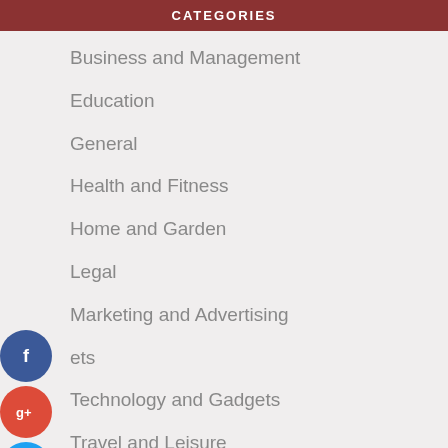CATEGORIES
Business and Management
Education
General
Health and Fitness
Home and Garden
Legal
Marketing and Advertising
Pets
Technology and Gadgets
Travel and Leisure
[Figure (infographic): Social sharing icons: Facebook (blue circle with f), Google+ (red circle with g+), Twitter (blue circle with bird), Plus (dark blue circle with +)]
RECENT POSTS
How To Choose The Right Product Photography